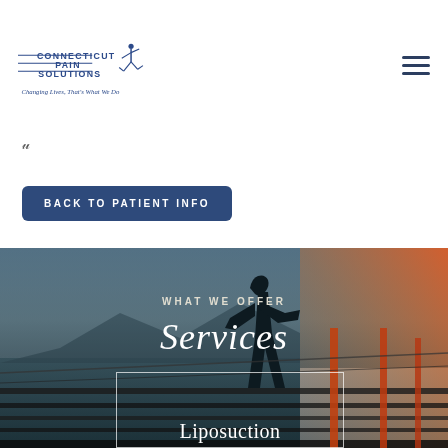[Figure (logo): Connecticut Pain Solutions logo with running figure and tagline 'Changing Lives, That's What We Do']
[Figure (other): Hamburger menu icon (three horizontal lines)]
U
Back to Patient Info
[Figure (photo): Background photo of a person running/jumping on a boardwalk near water at dusk with orange light flares]
WHAT WE OFFER
Services
Liposuction